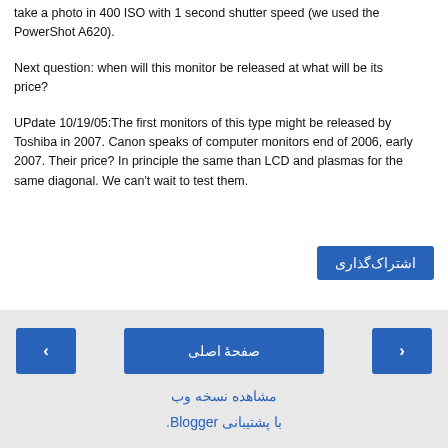take a photo in 400 ISO with 1 second shutter speed (we used the PowerShot A620).
Next question: when will this monitor be released at what will be its price?
UPdate 10/19/05:The first monitors of this type might be released by Toshiba in 2007. Canon speaks of computer monitors end of 2006, early 2007. Their price? In principle the same than LCD and plasmas for the same diagonal. We can't wait to test them.
اشتراک‌گذاری
صفحهٔ اصلی
مشاهده نسخه وب
با پشتیبانی Blogger.